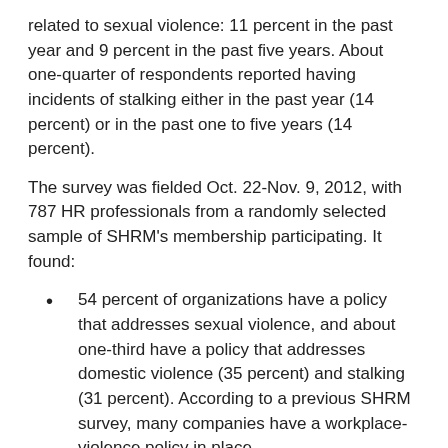related to sexual violence: 11 percent in the past year and 9 percent in the past five years. About one-quarter of respondents reported having incidents of stalking either in the past year (14 percent) or in the past one to five years (14 percent).
The survey was fielded Oct. 22-Nov. 9, 2012, with 787 HR professionals from a randomly selected sample of SHRM’s membership participating. It found:
54 percent of organizations have a policy that addresses sexual violence, and about one-third have a policy that addresses domestic violence (35 percent) and stalking (31 percent). According to a previous SHRM survey, many companies have a workplace-violence policy in place.
36 percent of organizations offer training that addresses sexual violence, and one in five offers training on domestic violence (20 percent) and stalking (20 percent).
Training on domestic violence is mandatory for 56